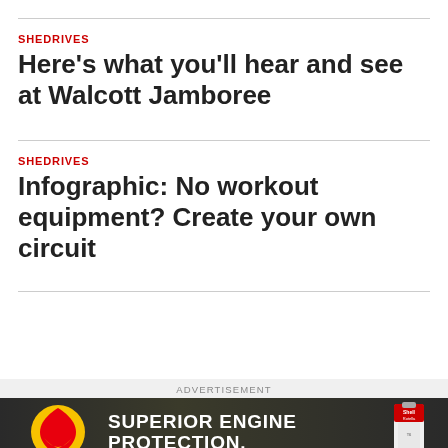SHEDRIVES
Here's what you'll hear and see at Walcott Jamboree
SHEDRIVES
Infographic: No workout equipment? Create your own circuit
ADVERTISEMENT
[Figure (photo): Shell Rotella advertisement banner showing Shell logo and text 'SUPERIOR ENGINE PROTECTION.' with an oil canister on dark background]